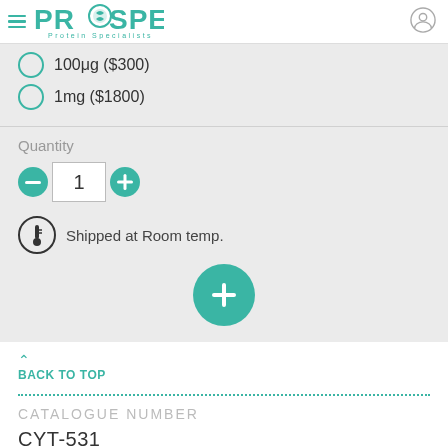[Figure (logo): ProSpec Protein Specialists logo with hamburger menu icon and user account icon]
100μg ($300)
1mg ($1800)
Quantity: 1
Shipped at Room temp.
BACK TO TOP
CATALOGUE NUMBER
CYT-531